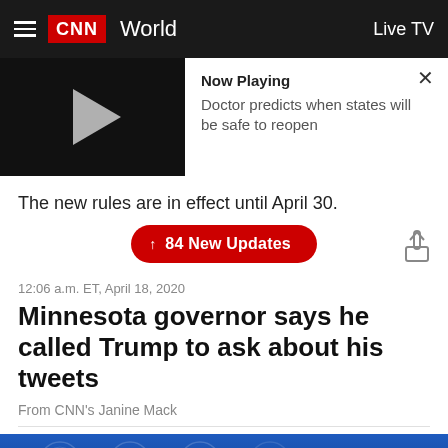CNN  World  Live TV
[Figure (screenshot): CNN video player showing play button on black background with 'Now Playing' panel: Doctor predicts when states will be safe to reopen. X close button top right.]
The new rules are in effect until April 30.
↑ 84 New Updates
12:06 a.m. ET, April 18, 2020
Minnesota governor says he called Trump to ask about his tweets
From CNN's Janine Mack
[Figure (photo): Blue banner/background photo at bottom of page, partially visible, showing logos and text including 'State Em' on the right.]